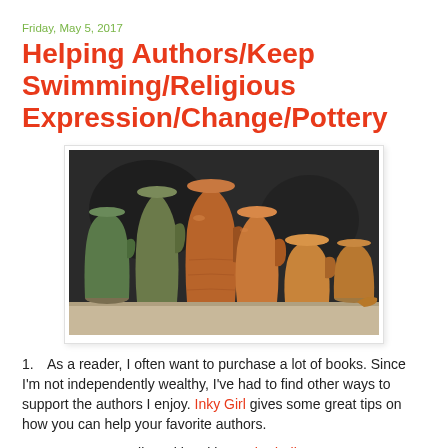Friday, May 5, 2017
Helping Authors/Keep Swimming/Religious Expression/Change/Pottery
[Figure (photo): A collection of ceramic pottery jugs and vessels of various sizes and earthy tones (brown, orange, green) arranged on a surface against a dark background.]
1.  As a reader, I often want to purchase a lot of books. Since I'm not independently wealthy, I've had to find other ways to support the authors I enjoy. Inky Girl gives some great tips on how you can help your favorite authors.
2.  Are you struggling with writing? Chad Allen quotes Nemo: